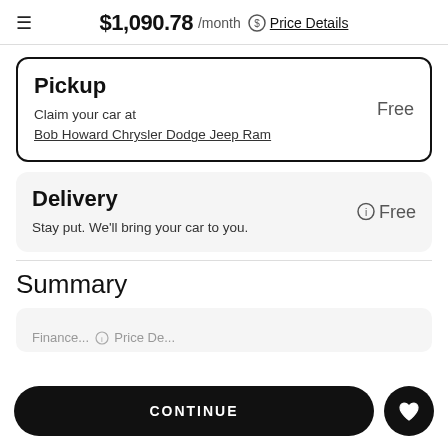≡  $1,090.78 /month ⓢ Price Details
Pickup
Claim your car at
Bob Howard Chrysler Dodge Jeep Ram
Free
Delivery
Stay put. We'll bring your car to you.
ⓘ Free
Summary
Finance... ⓘ Price De...
CONTINUE